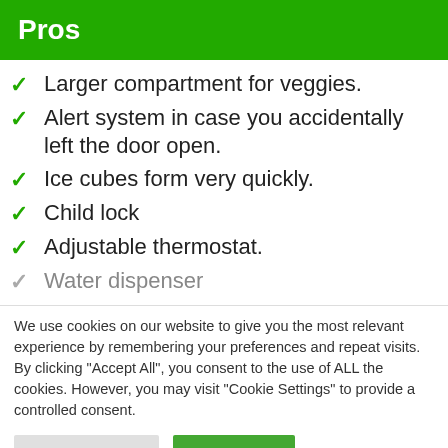Pros
Larger compartment for veggies.
Alert system in case you accidentally left the door open.
Ice cubes form very quickly.
Child lock
Adjustable thermostat.
Water dispenser
We use cookies on our website to give you the most relevant experience by remembering your preferences and repeat visits. By clicking "Accept All", you consent to the use of ALL the cookies. However, you may visit "Cookie Settings" to provide a controlled consent.
Cookie Settings | Accept All